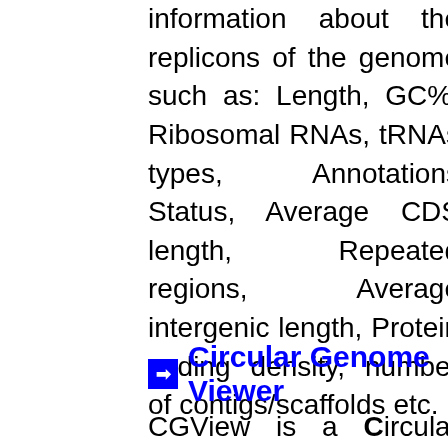information about the replicons of the genome such as: Length, GC%, Ribosomal RNAs, tRNAs types, Annotations Status, Average CDS length, Repeated regions, Average intergenic length, Protein coding density, number of contigs/scaffolds etc.
➡ Circular Genome Viewer
CGView is a Circular Genome Viewer of